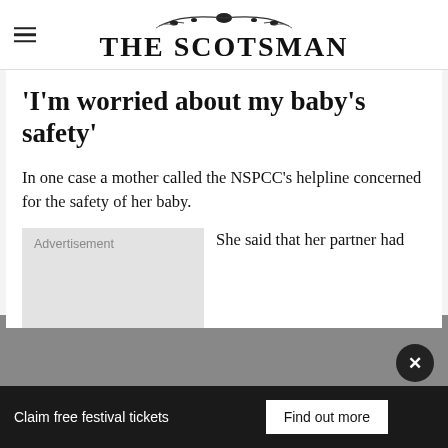THE SCOTSMAN
'I'm worried about my baby's safety'
In one case a mother called the NSPCC's helpline concerned for the safety of her baby.
Advertisement
She said that her partner had
Claim free festival tickets   Find out more